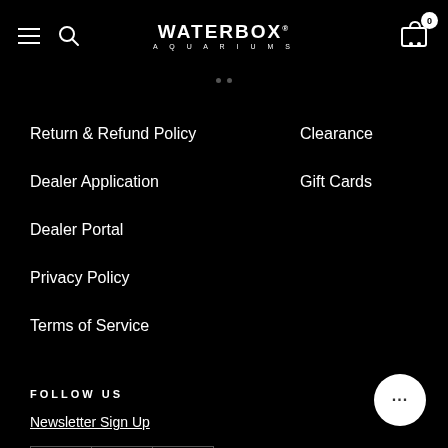WATERBOX AQUARIUMS
Return & Refund Policy
Dealer Application
Dealer Portal
Privacy Policy
Terms of Service
Clearance
Gift Cards
FOLLOW US
Newsletter Sign Up
[Figure (infographic): Social media icon buttons for Facebook, Instagram, and YouTube arranged in a row with square borders]